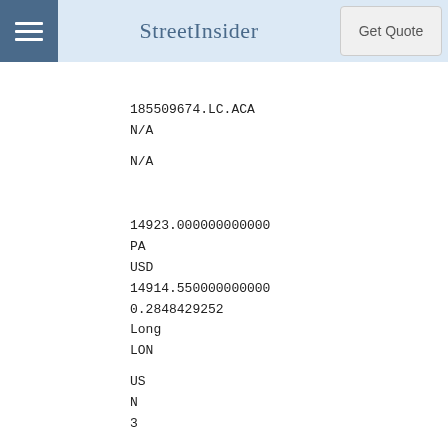StreetInsider | Get Quote
185509674.LC.ACA
N/A
N/A
14923.000000000000
PA
USD
14914.550000000000
0.2848429252
Long
LON
US
N
3
2025-02-11
Fixed
00.740000000000